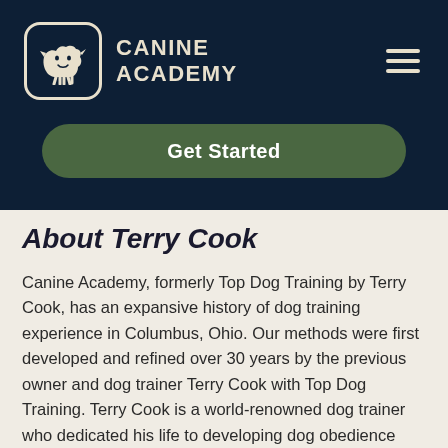CANINE ACADEMY
Get Started
About Terry Cook
Canine Academy, formerly Top Dog Training by Terry Cook, has an expansive history of dog training experience in Columbus, Ohio. Our methods were first developed and refined over 30 years by the previous owner and dog trainer Terry Cook with Top Dog Training. Terry Cook is a world-renowned dog trainer who dedicated his life to developing dog obedience training methods that are safe and effective. Importantly, his e collar method produces consistent results regardless of a dog's age, breed, or disposition. Terry Cook's proven dog training techniques came to life at his former company, Top Dog Training